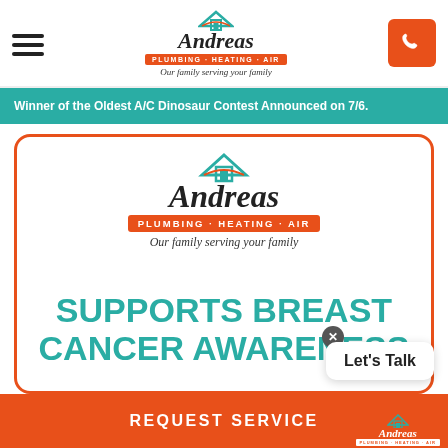[Figure (logo): Andreas Plumbing Heating Air logo with house icon, script wordmark, orange tagline bar, and italic slogan]
Winner of the Oldest A/C Dinosaur Contest Announced on 7/6.
[Figure (logo): Andreas Plumbing Heating Air logo (larger) with house icon, script wordmark, orange tagline bar, and italic slogan]
SUPPORTS BREAST CANCER AWARENESS
[Figure (illustration): Pink breast cancer awareness ribbon]
Let's Talk
REQUEST SERVICE